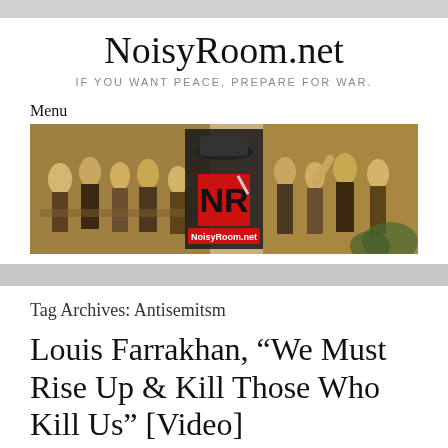NoisyRoom.net
IF YOU WANT PEACE, PREPARE FOR WAR.
Menu
[Figure (illustration): NoisyRoom.net banner image showing historical painting of men in debate on left and right, with NoisyRoom.net logo (NR in red and black with fedora hat) in the center]
Tag Archives: Antisemitsm
Louis Farrakhan, “We Must Rise Up & Kill Those Who Kill Us” [Video]